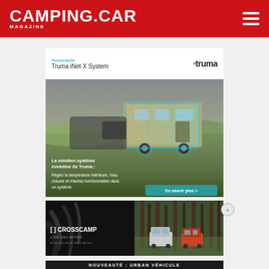CAMPING.CAR MAGAZINE
[Figure (photo): Truma iNet X System advertisement showing a caravan with digital overlay and text about system solutions. Text: Nouveauté, Truma iNet X System, La solution système évolutive de Truma, Réglez la température intérieure, l'eau chaude et d'autres fonctionnalités dans un système. Button: En savoir plus >]
[Figure (photo): Crosscamp advertisement with dark left side showing brand name and tagline (LIVE UNLIMITED, ALLER AU-DELÀ DES LIMITES) and right side showing campervans in forest. Bottom text: NOUVEAUTÉ : URBAN VÉHICULE]